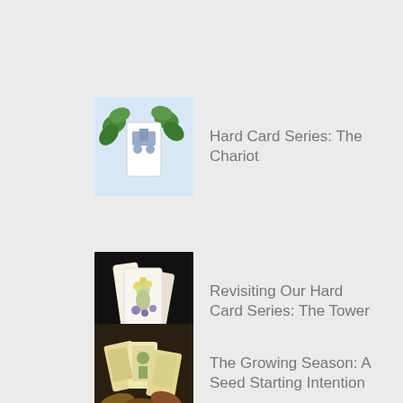Hard Card Series: The Chariot
Revisiting Our Hard Card Series: The Tower
The Growing Season: A Seed Starting Intention